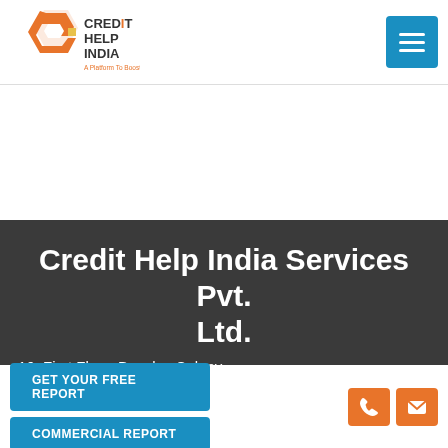[Figure (logo): Credit Help India logo - orange hexagon shape with C and credit help india text]
[Figure (other): Blue hamburger menu button with three horizontal white lines]
Credit Help India Services Pvt. Ltd.
16, First Floor, Baselva Colony,
GET YOUR FREE REPORT
COMMERCIAL REPORT
[Figure (other): Orange phone icon button and orange envelope/mail icon button]